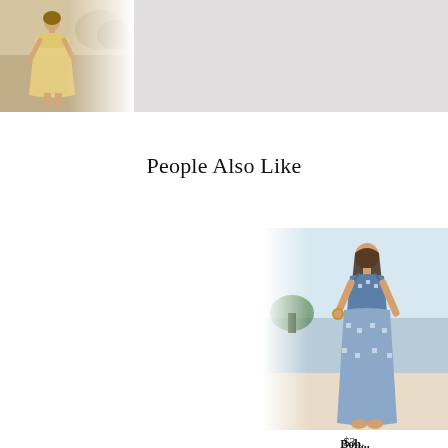[Figure (photo): Top row of product images: first image shows a woman in a yellow/tan dress outdoors fading into white, followed by three light gray placeholder image boxes]
People Also Like
[Figure (photo): Partial product photo of a woman wearing a blue and white bohemian maxi dress on a beach, partially cropped on the right side]
Boho Spaghe... Max...
$3...